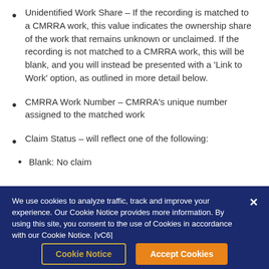Unidentified Work Share – If the recording is matched to a CMRRA work, this value indicates the ownership share of the work that remains unknown or unclaimed. If the recording is not matched to a CMRRA work, this will be blank, and you will instead be presented with a 'Link to Work' option, as outlined in more detail below.
CMRRA Work Number – CMRRA's unique number assigned to the matched work
Claim Status – will reflect one of the following:
Blank: No claim
We use cookies to analyze traffic, track and improve your experience. Our Cookie Notice provides more information. By using this site, you consent to the use of Cookies in accordance with our Cookie Notice. [vC6]